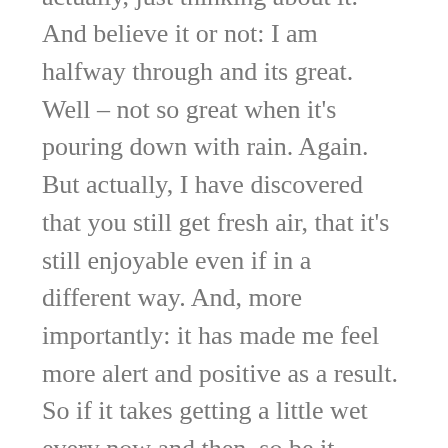has me quite excited right now actually, just thinking about it. And believe it or not: I am halfway through and its great. Well – not so great when it's pouring down with rain. Again. But actually, I have discovered that you still get fresh air, that it's still enjoyable even if in a different way. And, more importantly: it has made me feel more alert and positive as a result. So if it takes getting a little wet every now and then, so be it.
As for the eating better as a result – hm. That is still work in progress and my dog's less reluctant to get involved.
The coming home after exercise does seem to focus me on then not wanting to consume all the calories in a treat. It often helps me choose the apple over the chocolate bar.